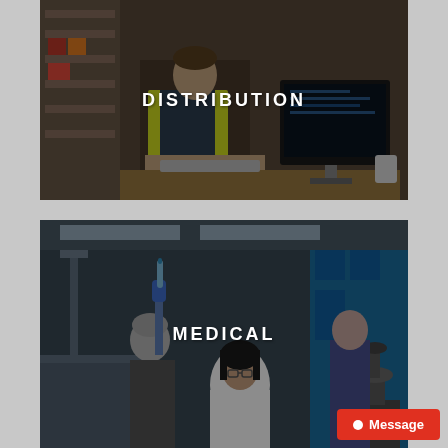[Figure (photo): Worker in yellow high-visibility vest sitting at a desk with a computer monitor in a warehouse/distribution center environment. Dark overlay on image.]
DISTRIBUTION
[Figure (photo): Medical laboratory scene with scientists/researchers, one holding a test tube with blue gloves, another working at a microscope. Dark overlay on image.]
MEDICAL
Message